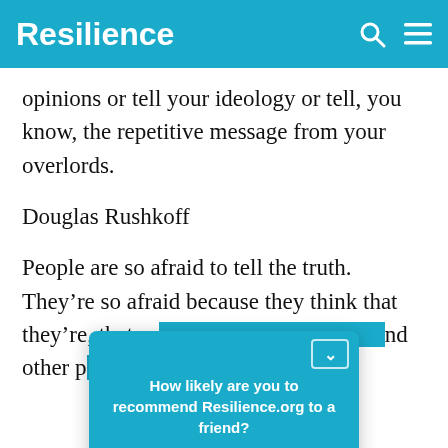Resilience
opinions or tell your ideology or tell, you know, the repetitive message from your overlords.
Douglas Rushkoff
People are so afraid to tell the truth. They're so afraid because they think that they're, that something's wrong with th— and other p— gotta hide. A— all
[Figure (screenshot): Popup overlay asking 'How likely are you to recommend Resilience.org to a friend?' with a Reply button and a chevron/close button in top-right corner, styled in teal/blue background.]